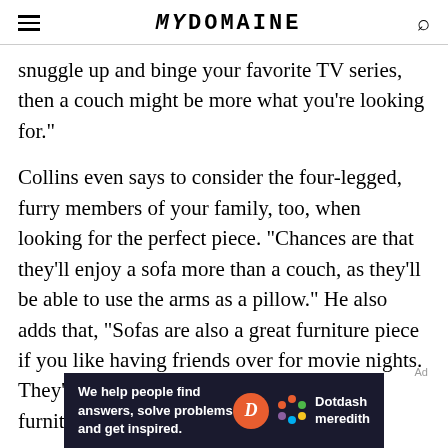MYDOMAINE
snuggle up and binge your favorite TV series, then a couch might be more what you're looking for."
Collins even says to consider the four-legged, furry members of your family, too, when looking for the perfect piece. "Chances are that they'll enjoy a sofa more than a couch, as they'll be able to use the arms as a pillow." He also adds that, "Sofas are also a great furniture piece if you like having friends over for movie nights. They're preferable if you plan to use the furniture as a bed for sleepovers, too."
[Figure (screenshot): Dotdash Meredith advertisement banner: dark background with text 'We help people find answers, solve problems and get inspired.' with Dotdash Meredith logo.]